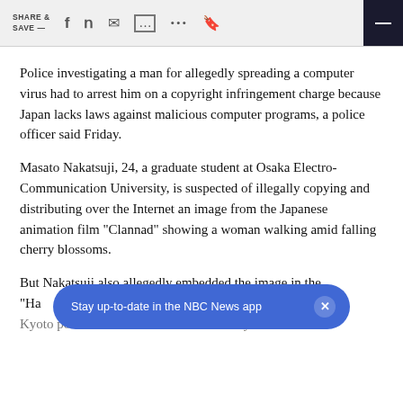SHARE & SAVE —
Police investigating a man for allegedly spreading a computer virus had to arrest him on a copyright infringement charge because Japan lacks laws against malicious computer programs, a police officer said Friday.
Masato Nakatsuji, 24, a graduate student at Osaka Electro-Communication University, is suspected of illegally copying and distributing over the Internet an image from the Japanese animation film "Clannad" showing a woman walking amid falling cherry blossoms.
But Nakatsuji also allegedly embedded the image in the "Ha… Kyoto police officer said on the customary condition of…
Stay up-to-date in the NBC News app